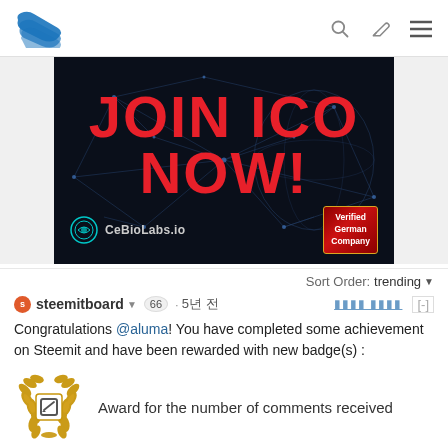Steemit logo with search, edit, and menu icons
[Figure (photo): JOIN ICO NOW! promotional banner for CeBioLabs.io with dark network background and Verified German Company badge]
Sort Order: trending
steemitboard ▾ 66 · 5년 전     [-]
Congratulations @aluma! You have completed some achievement on Steemit and have been rewarded with new badge(s) :
[Figure (illustration): Gold laurel wreath badge with pencil/edit icon in center - award badge icon]
Award for the number of comments received